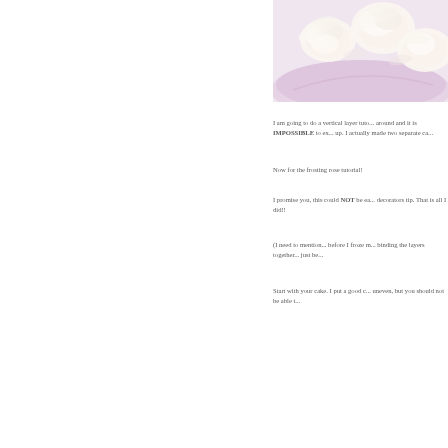[Figure (photo): Close-up photo of white frosting roses on a pink/lavender cake]
I am going to do a vertical layer tuto... around and it is IMPOSSIBLE to ex... up. I actually made two separate ca...
Now for the frosting rose tutorial!
I promise you, this could NOT be ea... decorators tip. That is all I did!!
(I need to mention... before I froze m... binding the layers together... just be...
Start with your cake. I put a good c... uneven, but you should not be able t...